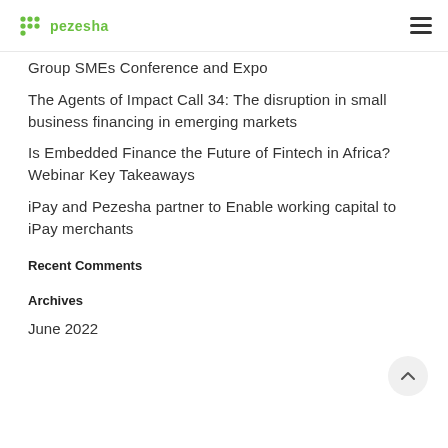pezesha
Group SMEs Conference and Expo
The Agents of Impact Call 34: The disruption in small business financing in emerging markets
Is Embedded Finance the Future of Fintech in Africa? Webinar Key Takeaways
iPay and Pezesha partner to Enable working capital to iPay merchants
Recent Comments
Archives
June 2022